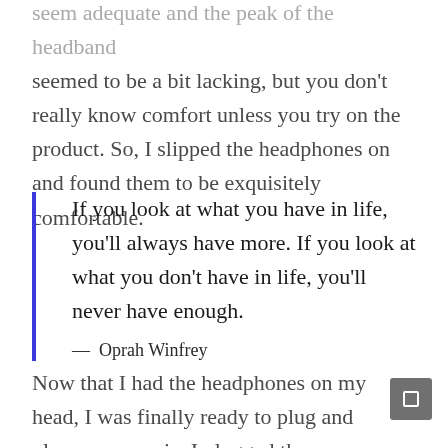seem adequate and the peak of the headband seemed to be a bit lacking, but you don't really know comfort unless you try on the product. So, I slipped the headphones on and found them to be exquisitely comfortable.
If you look at what you have in life, you'll always have more. If you look at what you don't have in life, you'll never have enough.
— Oprah Winfrey
Now that I had the headphones on my head, I was finally ready to plug and play some music. I plugged the provided cable into the jack on the